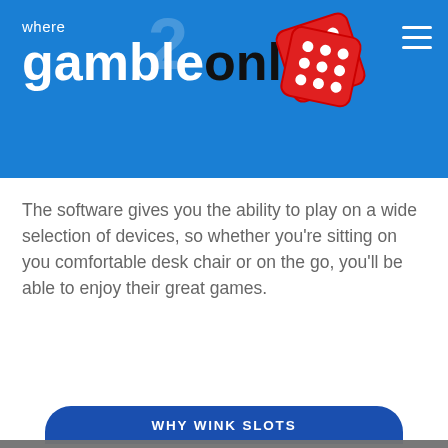[Figure (logo): Where2GambleOnline logo with dice on blue background header]
The software gives you the ability to play on a wide selection of devices, so whether you're sitting on you comfortable desk chair or on the go, you'll be able to enjoy their great games.
WHY WINK SLOTS
We use cookies on our website to give you the most relevant experience by remembering your preferences and repeat visits. By clicking “Accept”, you consent to the use of ALL the cookies.
Cookie settings
ACCEPT